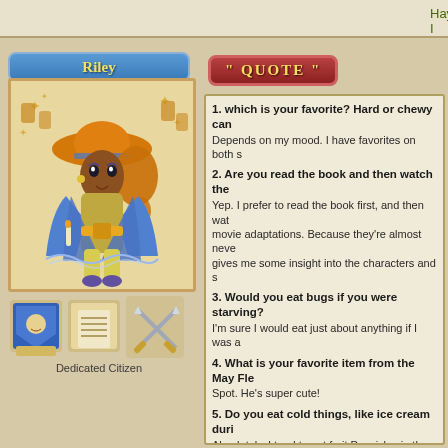Hayren, I look at your avatar and think  Queen...
Riley
[Figure (illustration): Pixel art avatar of a female character wearing an orange wide-brim hat, blue cape/robe, yellow pants, with decorative lanterns and stars in the background]
[Figure (illustration): Two badge icons (blue shield with face, scroll/book) and one larger badge icon (crossed swords/weapons)]
Dedicated Citizen
" QUOTE "
1. which is your favorite? Hard or chewy can... Depends on my mood. I have favorites on both s...
2. Are you read the book and then watch the... Yep. I prefer to read the book first, and then wat... movie adaptations. Because they're almost neve... gives me some insight into the characters and s...
3. Would you eat bugs if you were starving? I'm sure I would eat just about anything if I was a...
4. What is your favorite item from the May Fle... Spot. He's super cute!
5. Do you eat cold things, like ice cream duri... Absolutely. I tend to eat fruit Popsicles in the wi...
New Questions
1. which is your favorite? Hard or chewy candy?
2. Are you read the book and then watch the mo...
3. It's Spring in Cali, are you dying to allergies?
4. What is your favourite item from the May Flow...
5. Do you eat cold things, like ice cream during c...